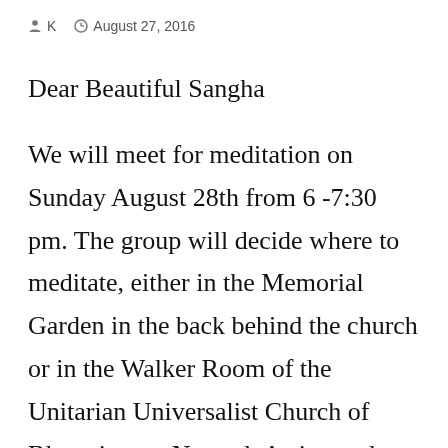K   August 27, 2016
Dear Beautiful Sangha
We will meet for meditation on Sunday August 28th from 6 -7:30 pm. The group will decide where to meditate, either in the Memorial Garden in the back behind the church or in the Walker Room of the Unitarian Universalist Church of Bloomington Normal. Arrive early to get